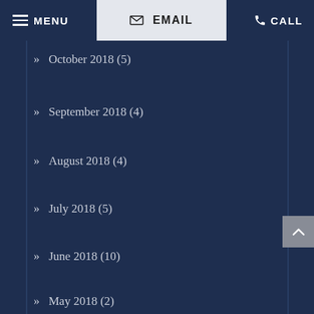MENU  EMAIL  CALL
October 2018 (5)
September 2018 (4)
August 2018 (4)
July 2018 (5)
June 2018 (10)
May 2018 (2)
April 2018 (5)
March 2018 (5)